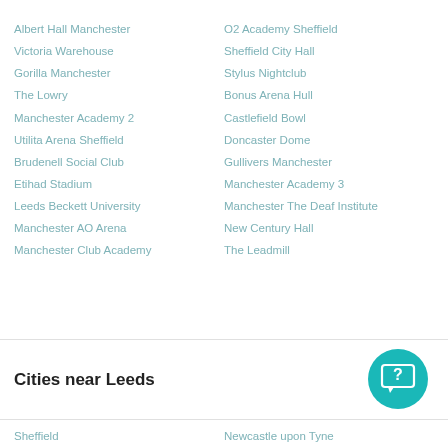Albert Hall Manchester
Victoria Warehouse
Gorilla Manchester
The Lowry
Manchester Academy 2
Utilita Arena Sheffield
Brudenell Social Club
Etihad Stadium
Leeds Beckett University
Manchester AO Arena
Manchester Club Academy
O2 Academy Sheffield
Sheffield City Hall
Stylus Nightclub
Bonus Arena Hull
Castlefield Bowl
Doncaster Dome
Gullivers Manchester
Manchester Academy 3
Manchester The Deaf Institute
New Century Hall
The Leadmill
Cities near Leeds
Sheffield
Newcastle upon Tyne